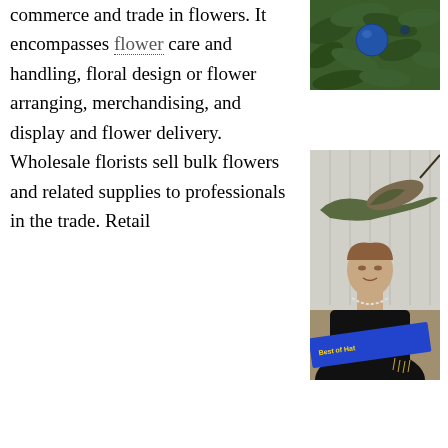commerce and trade in flowers. It encompasses flower care and handling, floral design or flower arranging, merchandising, and display and flower delivery. Wholesale florists sell bulk flowers and related supplies to professionals in the trade. Retail
[Figure (photo): Photo of dark blue/teal ornamental balls among green foliage]
[Figure (photo): Photo of a mannequin head wearing an elaborate hummingbird hat/fascinator with a blue 'Best of Hat' sash ribbon]